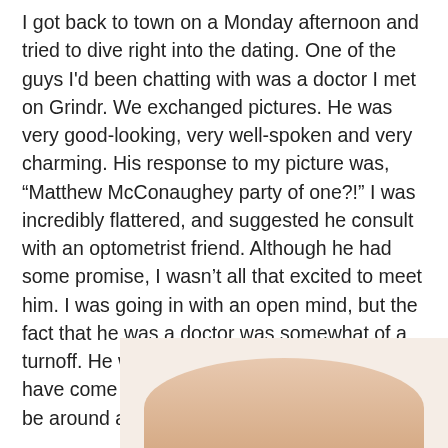I got back to town on a Monday afternoon and tried to dive right into the dating. One of the guys I'd been chatting with was a doctor I met on Grindr. We exchanged pictures. He was very good-looking, very well-spoken and very charming. His response to my picture was, “Matthew McConaughey party of one?!” I was incredibly flattered, and suggested he consult with an optometrist friend. Although he had some promise, I wasn’t all that excited to meet him. I was going in with an open mind, but the fact that he was a doctor was somewhat of a turnoff. He would have no time for me, and I have come to realize I need someone who will be around and spend time with me.
[Figure (photo): Partial photo showing a hand or person, cropped at the bottom of the page with a light beige/skin-tone background.]